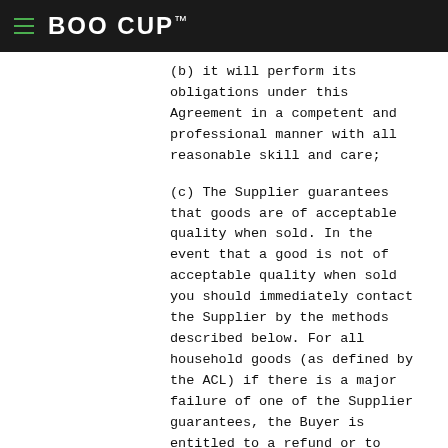BOO CUP™
(b) it will perform its obligations under this Agreement in a competent and professional manner with all reasonable skill and care;
(c) The Supplier guarantees that goods are of acceptable quality when sold. In the event that a good is not of acceptable quality when sold you should immediately contact the Supplier by the methods described below. For all household goods (as defined by the ACL) if there is a major failure of one of the Supplier guarantees, the Buyer is entitled to a refund or to reject the item and to get an identical replacement or one of similar value if reasonably available or to